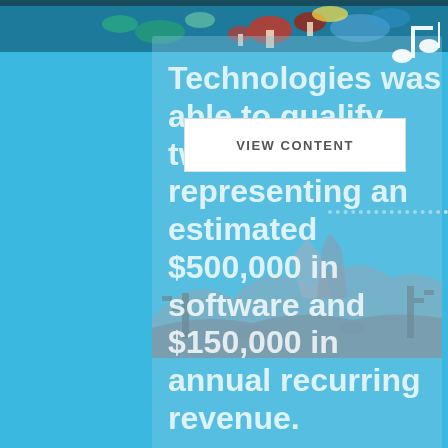[Figure (illustration): Top decorative strip with colorful illustrated plants and mushrooms on dark background]
[Figure (illustration): Music note icon in white, top right corner]
Technologies was able to qualify two leads, representing an estimated $500,000 in software and $150,000 in annual recurring revenue.
[Figure (other): VIEW CONTENT button overlay in white rectangle]
[Figure (illustration): Desert landscape silhouette at bottom with cacti and rock formations in muted gray-blue tones]
[Figure (other): Dotted white line extending to the right edge near middle of page]